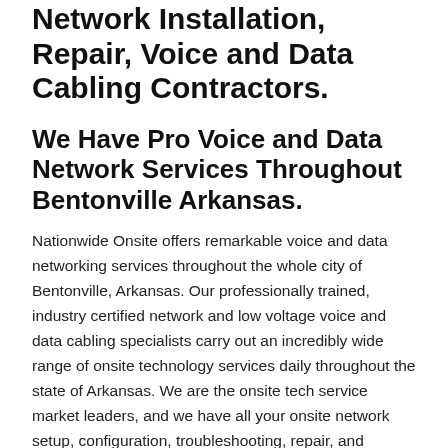Network Installation, Repair, Voice and Data Cabling Contractors.
We Have Pro Voice and Data Network Services Throughout Bentonville Arkansas.
Nationwide Onsite offers remarkable voice and data networking services throughout the whole city of Bentonville, Arkansas. Our professionally trained, industry certified network and low voltage voice and data cabling specialists carry out an incredibly wide range of onsite technology services daily throughout the state of Arkansas. We are the onsite tech service market leaders, and we have all your onsite network setup, configuration, troubleshooting, repair, and structured cabling services covered. Our specialists also carry out onsite wireless wifi heat mapping evaluations, installation, and troubleshooting, as well as full Point of Sale network and cabling support services. Whether you